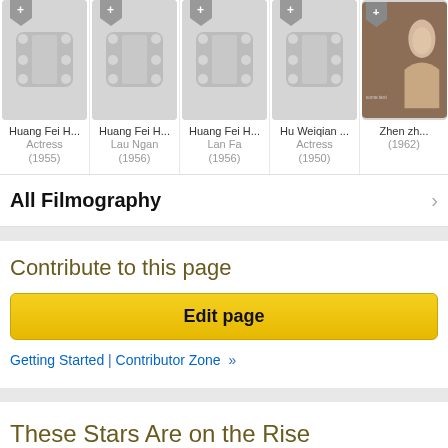[Figure (screenshot): Film cards strip showing movie thumbnails with placeholder icons and titles: Huang Fei H... Actress (1955), Huang Fei H... Lau Ngan (1956), Huang Fei H... Lan Fa (1956), Hu Weiqian... Actress (1950), Zhen zh... (1962) with an actual photo]
All Filmography
Contribute to this page
Edit page
Getting Started | Contributor Zone »
These Stars Are on the Rise